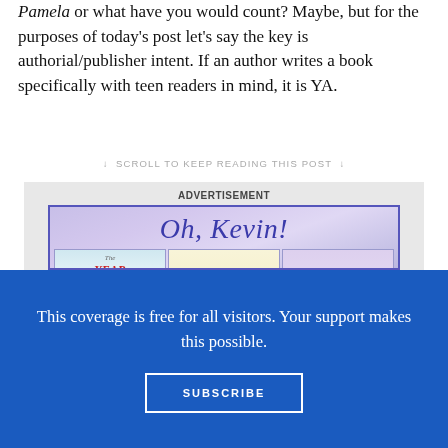Pamela or what have you would count? Maybe, but for the purposes of today's post let's say the key is authorial/publisher intent. If an author writes a book specifically with teen readers in mind, it is YA.
↓ SCROLL TO KEEP READING THIS POST ↓
[Figure (illustration): Advertisement banner showing book covers for 'The Year of Billy Miller', 'Billy Miller Makes a Wish', and 'Oh, Sal' under the heading 'Oh, Kevin!']
This coverage is free for all visitors. Your support makes this possible.
SUBSCRIBE